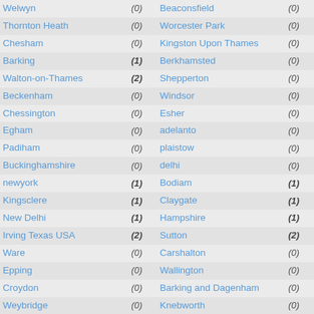| Location | Value | Location | Value |
| --- | --- | --- | --- |
| Welwyn | (0) | Beaconsfield | (0) |
| Thornton Heath | (0) | Worcester Park | (0) |
| Chesham | (0) | Kingston Upon Thames | (0) |
| Barking | (1) | Berkhamsted | (0) |
| Walton-on-Thames | (2) | Shepperton | (0) |
| Beckenham | (0) | Windsor | (0) |
| Chessington | (0) | Esher | (0) |
| Egham | (0) | adelanto | (0) |
| Padiham | (0) | plaistow | (0) |
| Buckinghamshire | (0) | delhi | (0) |
| newyork | (1) | Bodiam | (1) |
| Kingsclere | (1) | Claygate | (1) |
| New Delhi | (1) | Hampshire | (1) |
| Irving Texas USA | (2) | Sutton | (2) |
| Ware | (0) | Carshalton | (0) |
| Epping | (0) | Wallington | (0) |
| Croydon | (0) | Barking and Dagenham | (0) |
| Weybridge | (0) | Knebworth | (0) |
| Chertsey | (0) | Bourne End | (0) |
| Bromley | (1) | Addlestone | (3) |
| Epsom | (1) | Dagenham | (0) |